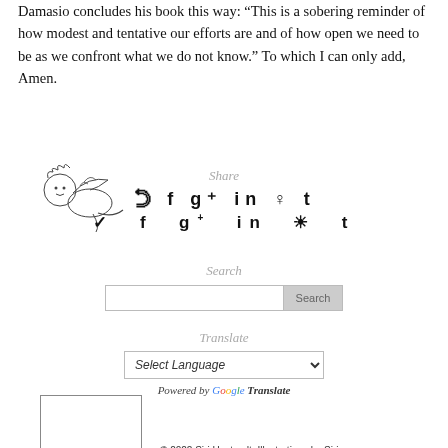Damasio concludes his book this way: “This is a sobering reminder of how modest and tentative our efforts are and of how open we need to be as we confront what we do not know.” To which I can only add, Amen.
[Figure (illustration): Small decorative cherub/angel illustration in outline style]
Share
✓ f g+ in ♀ t (social media share icons)
Search
Translate
Select Language (dropdown)
Powered by Google Translate
[Figure (illustration): Small square outline box (placeholder image/logo)]
© 2022 Siri Hustvedt. Illustrations by Siri.